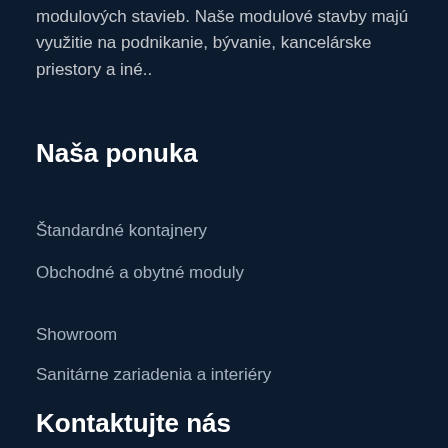modulových stavieb. Naše modulové stavby majú využitie na podnikanie, bývanie, kancelárske priestory a iné..
Naša ponuka
Štandardné kontajnery
Obchodné a obytné moduly
Showroom
Sanitárne zariadenia a interiéry
Kontaktujte nás